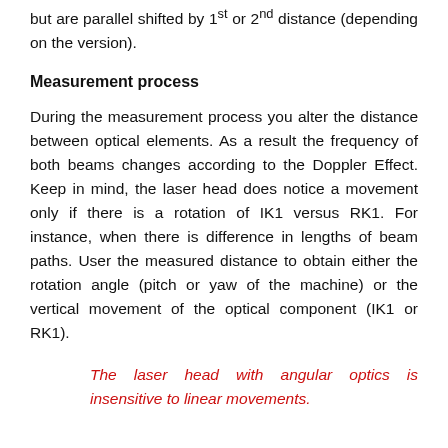but are parallel shifted by 1" or 2" distance (depending on the version).
Measurement process
During the measurement process you alter the distance between optical elements. As a result the frequency of both beams changes according to the Doppler Effect. Keep in mind, the laser head does notice a movement only if there is a rotation of IK1 versus RK1. For instance, when there is difference in lengths of beam paths. User the measured distance to obtain either the rotation angle (pitch or yaw of the machine) or the vertical movement of the optical component (IK1 or RK1).
The laser head with angular optics is insensitive to linear movements.